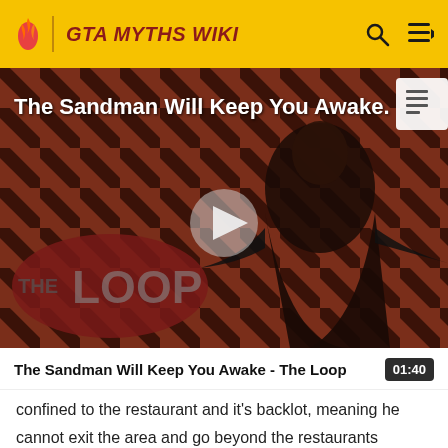GTA MYTHS WIKI
[Figure (screenshot): Video thumbnail for 'The Sandman Will Keep You Awake - The Loop' showing a dark figure in a black cape against a diagonal red and black striped background, with a THE LOOP logo in the lower left, a play button in the center, and a document icon in the upper right corner.]
The Sandman Will Keep You Awake - The Loop  01:40
confined to the restaurant and it's backlot, meaning he cannot exit the area and go beyond the restaurants boundaries to explore Liberty City. However, the player